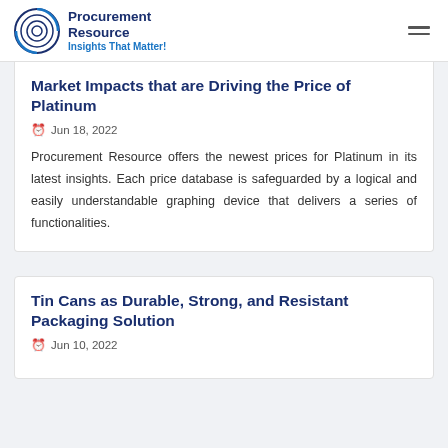Procurement Resource — Insights That Matter!
Market Impacts that are Driving the Price of Platinum
Jun 18, 2022
Procurement Resource offers the newest prices for Platinum in its latest insights. Each price database is safeguarded by a logical and easily understandable graphing device that delivers a series of functionalities.
Tin Cans as Durable, Strong, and Resistant Packaging Solution
Jun 10, 2022